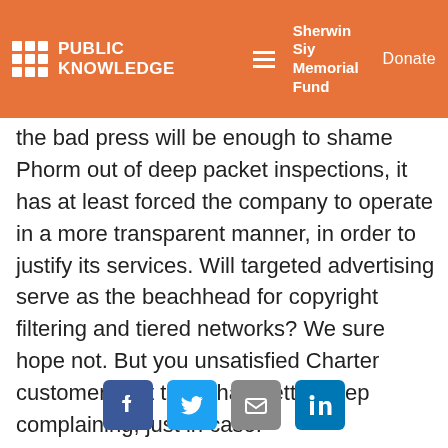PUBLIC KNOWLEDGE | Sherwin Siy Memorial Fund | Donate
the bad press will be enough to shame Phorm out of deep packet inspections, it has at least forced the company to operate in a more transparent manner, in order to justify its services. Will targeted advertising serve as the beachhead for copyright filtering and tiered networks? We sure hope not. But you unsatisfied Charter customers out there had better keep complaining, just in case.
[Figure (infographic): Social media sharing icons for Facebook, Twitter, Email, and LinkedIn]